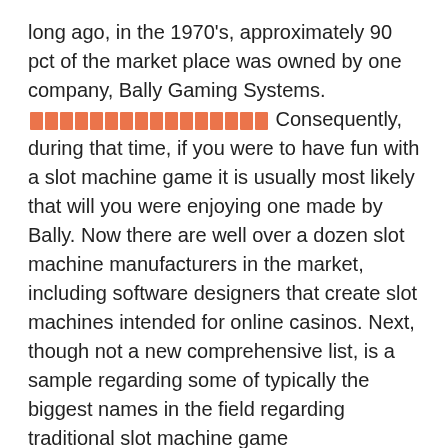long ago, in the 1970's, approximately 90 pct of the market place was owned by one company, Bally Gaming Systems. [REDACTED]. Consequently, during that time, if you were to have fun with a slot machine game it is usually most likely that will you were enjoying one made by Bally. Now there are well over a dozen slot machine manufacturers in the market, including software designers that create slot machines intended for online casinos. Next, though not a new comprehensive list, is a sample regarding some of typically the biggest names in the field regarding traditional slot machine game manufacturing.
AC Coin & Slot was founded found in 1978 in Pleasantville, New Jersey. I actually how to start about you, but when My partner and i watched Reese Witherspoon and Tobey Maguire in Pleasantville, I had fashioned no idea the particular town was truly. I